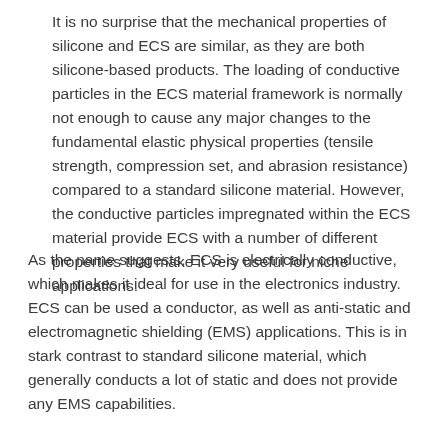It is no surprise that the mechanical properties of silicone and ECS are similar, as they are both silicone-based products. The loading of conductive particles in the ECS material framework is normally not enough to cause any major changes to the fundamental elastic physical properties (tensile strength, compression set, and abrasion resistance) compared to a standard silicone material. However, the conductive particles impregnated within the ECS material provide ECS with a number of different properties that make it very useful for niche applications.
As the name suggests, ECS is electrically conductive, which makes it ideal for use in the electronics industry. ECS can be used a conductor, as well as anti-static and electromagnetic shielding (EMS) applications. This is in stark contrast to standard silicone material, which generally conducts a lot of static and does not provide any EMS capabilities.